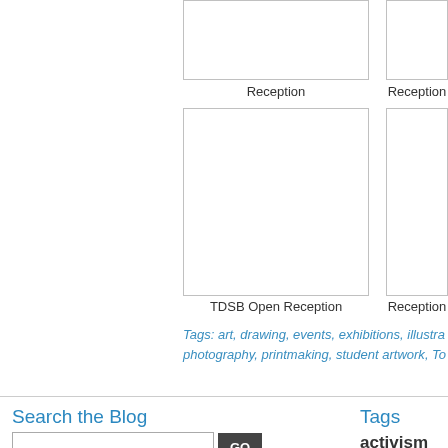[Figure (photo): Thumbnail image placeholder top-left, labeled Reception]
Reception
[Figure (photo): Thumbnail image placeholder top-right, labeled Reception]
Reception
[Figure (photo): Large thumbnail image placeholder bottom-left, labeled TDSB Open Reception]
TDSB Open Reception
[Figure (photo): Tall thumbnail image placeholder bottom-right, labeled Reception]
Reception
Tags: art, drawing, events, exhibitions, illustra... photography, printmaking, student artwork, To...
Search the Blog
Tags
activism anima...